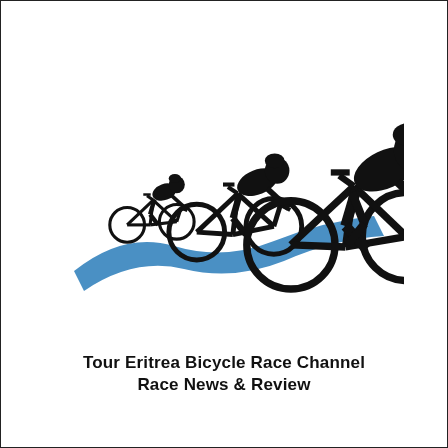[Figure (logo): Three cyclists silhouetted in black riding on a blue winding road/path, viewed from the side. Three riders of increasing size from left to right suggest perspective/depth. The road is a curved blue shape beneath them.]
Tour Eritrea Bicycle Race Channel
Race News & Review